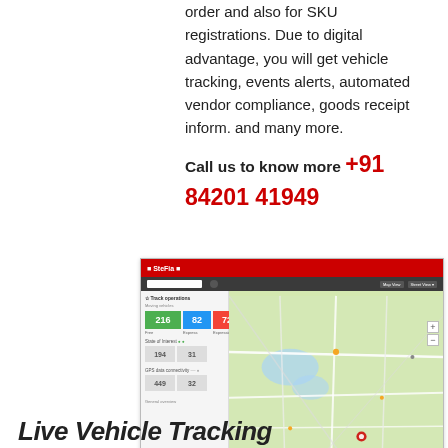order and also for SKU registrations. Due to digital advantage, you will get vehicle tracking, events alerts, automated vendor compliance, goods receipt inform. and many more.
Call us to know more +91 84201 41949
[Figure (screenshot): Screenshot of a vehicle tracking software dashboard showing a map of India with track operations panel on the left showing stats: 216 (green), 82 (blue), 72 (red), and additional metrics below. The map shows road network around a city area.]
3PL Warehouse with Distribution in Chennai
Live Vehicle Tracking